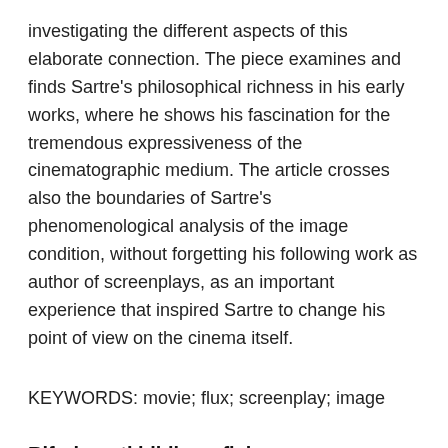investigating the different aspects of this elaborate connection. The piece examines and finds Sartre's philosophical richness in his early works, where he shows his fascination for the tremendous expressiveness of the cinematographic medium. The article crosses also the boundaries of Sartre's phenomenological analysis of the image condition, without forgetting his following work as author of screenplays, as an important experience that inspired Sartre to change his point of view on the cinema itself.
KEYWORDS: movie; flux; screenplay; image
Riferimenti bibliografici
ALAIN, Propos sur l'esthétique, Librairie Stock, Paris 1923; Pensieri sull'estetica, tr. it. di E. Bonora, Guerini e associati, Milano 1998